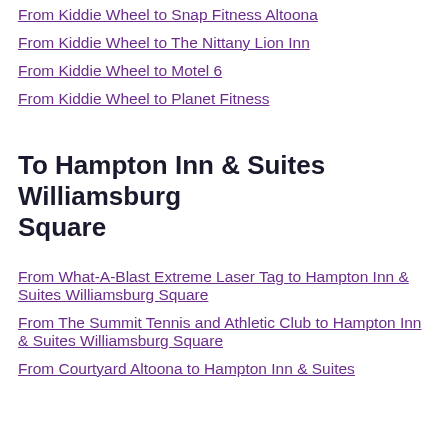From Kiddie Wheel to Snap Fitness Altoona
From Kiddie Wheel to The Nittany Lion Inn
From Kiddie Wheel to Motel 6
From Kiddie Wheel to Planet Fitness
To Hampton Inn & Suites Williamsburg Square
From What-A-Blast Extreme Laser Tag to Hampton Inn & Suites Williamsburg Square
From The Summit Tennis and Athletic Club to Hampton Inn & Suites Williamsburg Square
From Courtyard Altoona to Hampton Inn & Suites